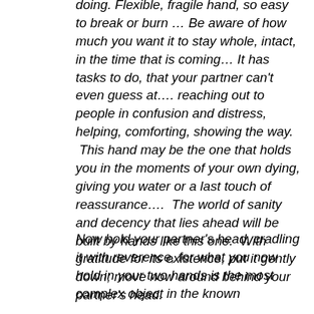doing.  Flexible, fragile hand, so easy to break or burn … Be aware of how much you want it to stay whole, intact, in the time that is coming… It has tasks to do, that your partner can't even guess at…. reaching out to people in confusion and distress, helping, comforting, showing the way.  This hand may be the one that holds you in the moments of your own dying, giving you water or a last touch of reassurance….  The world of sanity and decency that lies ahead will be built by hands like this one.  With gratitude for its existence, put it gently down; move now around behind your partner's head.
Now hold your partner's head, cradling it with reverence, for what you now hold in your two hands is the most complex object in the known